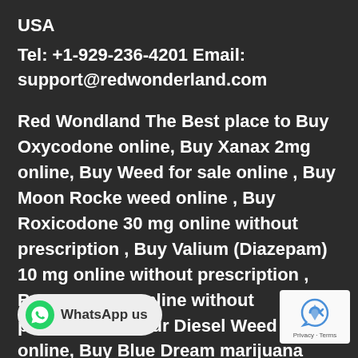USA
Tel: +1-929-236-4201 Email: support@redwonderland.com
Red Wondland The Best place to Buy Oxycodone online, Buy Xanax 2mg online, Buy Weed for sale online , Buy Moon Rocke weed online , Buy Roxicodone 30 mg online without prescription , Buy Valium (Diazepam) 10 mg online without prescription , Buy Percocet online without prescription, Sour Diesel Weed Strain online, Buy Blue Dream marijuana online
[Figure (other): WhatsApp us button overlay at bottom left]
[Figure (other): reCAPTCHA Privacy - Terms badge at bottom right]